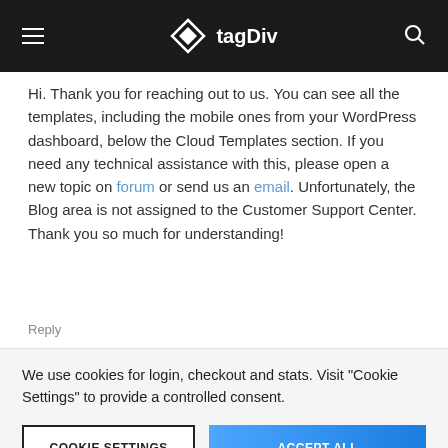tagDiv
Hi. Thank you for reaching out to us. You can see all the templates, including the mobile ones from your WordPress dashboard, below the Cloud Templates section. If you need any technical assistance with this, please open a new topic on forum or send us an email. Unfortunately, the Blog area is not assigned to the Customer Support Center. Thank you so much for understanding!
Reply
We use cookies for login, checkout and stats. Visit "Cookie Settings" to provide a controlled consent.
COOKIE SETTINGS
ACCEPT ALL
arranged the section which comes after the featured post. Like the arrangement of block after